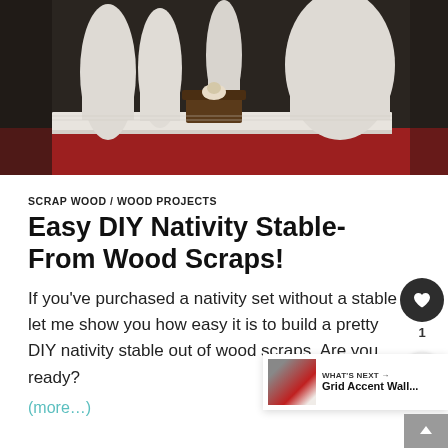[Figure (photo): A whitewashed wood nativity stable scene with white figurines and a natural wood manger with baby, displayed on a white wooden platform with red cloth in background]
SCRAP WOOD / WOOD PROJECTS
Easy DIY Nativity Stable- From Wood Scraps!
If you've purchased a nativity set without a stable let me show you how easy it is to build a pretty DIY nativity stable out of wood scraps. Are you ready?
(more…)